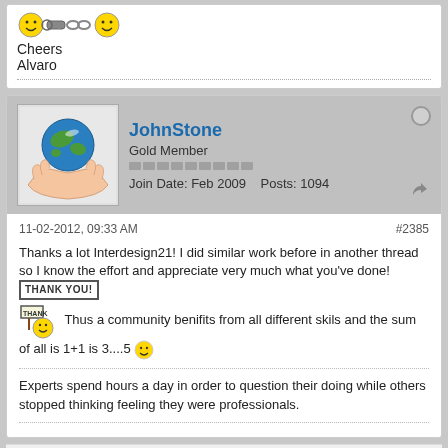Cheers
Alvaro
JohnStone
Gold Member
Join Date: Feb 2009  Posts: 1094
11-02-2012, 09:33 AM  #2385
Thanks a lot Interdesign21! I did similar work before in another thread so I know the effort and appreciate very much what you've done! [THANK YOU!] [emoji] Thus a community benifits from all different skils and the sum of all is 1+1 is 3....5 [emoji]
Experts spend hours a day in order to question their doing while others stopped thinking feeling they were professionals.